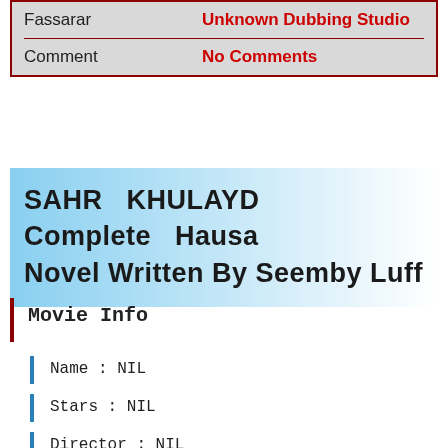| Label | Value |
| --- | --- |
| Fassarar | Unknown Dubbing Studio |
| Comment | No Comments |
SAHR KHULAYD Complete Hausa Novel Written By Seemby Luff
Movie Info
Name : NIL
Stars : NIL
Director : NIL
Running Time : NIL